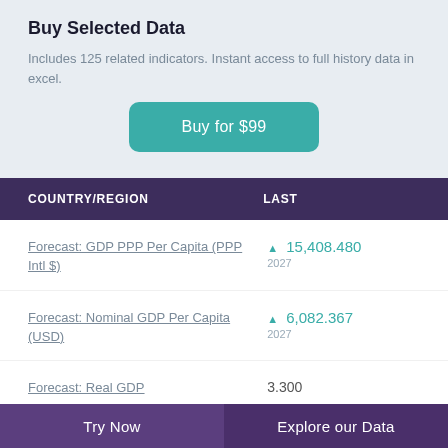Buy Selected Data
Includes 125 related indicators. Instant access to full history data in excel.
Buy for $99
| COUNTRY/REGION | LAST |
| --- | --- |
| Forecast: GDP PPP Per Capita (PPP Intl $) | ▲ 15,408.480
2027 |
| Forecast: Nominal GDP Per Capita (USD) | ▲ 6,082.367
2027 |
| Forecast: Real GDP Growth (%) | 3.300 |
Try Now   Explore our Data